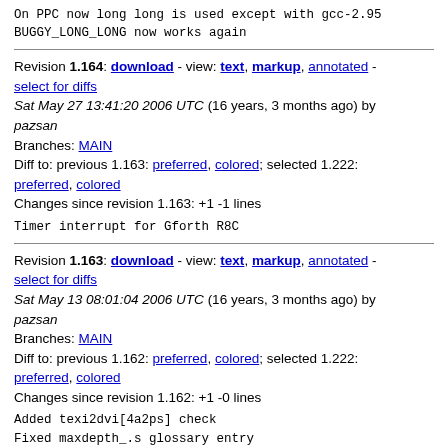On PPC now long long is used except with gcc-2.95
BUGGY_LONG_LONG now works again
Revision 1.164: download - view: text, markup, annotated - select for diffs
Sat May 27 13:41:20 2006 UTC (16 years, 3 months ago) by pazsan
Branches: MAIN
Diff to: previous 1.163: preferred, colored; selected 1.222: preferred, colored
Changes since revision 1.163: +1 -1 lines
Timer interrupt for Gforth R8C
Revision 1.163: download - view: text, markup, annotated - select for diffs
Sat May 13 08:01:04 2006 UTC (16 years, 3 months ago) by pazsan
Branches: MAIN
Diff to: previous 1.162: preferred, colored; selected 1.222: preferred, colored
Changes since revision 1.162: +1 -0 lines
Added texi2dvi[4a2ps] check
Fixed maxdepth_.s glossary entry